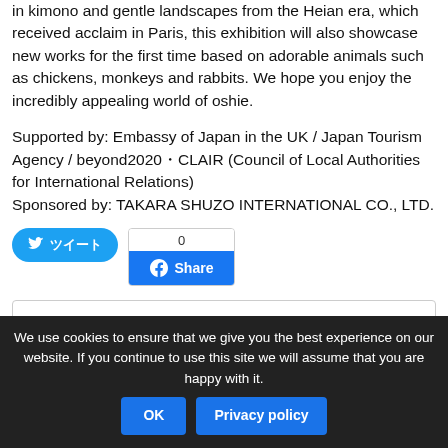in kimono and gentle landscapes from the Heian era, which received acclaim in Paris, this exhibition will also showcase new works for the first time based on adorable animals such as chickens, monkeys and rabbits. We hope you enjoy the incredibly appealing world of oshie.
Supported by: Embassy of Japan in the UK / Japan Tourism Agency / beyond2020・CLAIR (Council of Local Authorities for International Relations)
Sponsored by: TAKARA SHUZO INTERNATIONAL CO., LTD.
[Figure (other): Twitter share button (blue pill-shaped button with bird icon and Japanese text) and Facebook Share button (blue button with count=0 above it)]
Details
We use cookies to ensure that we give you the best experience on our website. If you continue to use this site we will assume that you are happy with it.